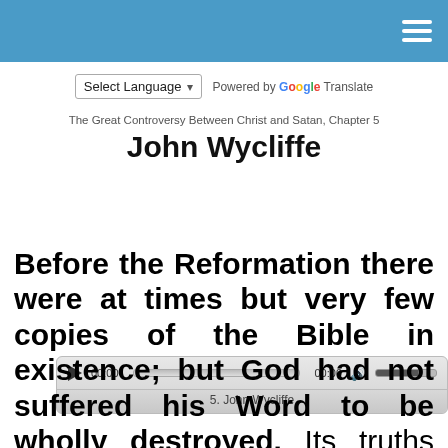Select Language  Powered by Google Translate
The Great Controversy Between Christ and Satan, Chapter 5
John Wycliffe
[Figure (other): Audio player widget showing play button, time display 00:00, progress bar, 00:00, volume icon and volume bar, with label '5. John Wycliffe']
Before the Reformation there were at times but very few copies of the Bible in existence; but God had not suffered his Word to be wholly destroyed. Its truths were not to be forever